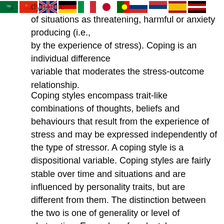[Figure (other): Row of country flag icons: Saudi Arabia, China, United Kingdom, Germany, Italy, Japan, Portugal, Russia, Serbia, Spain, Kenya]
dynamic...appraisal of situations as threatening, harmful or anxiety producing (i.e., by the experience of stress). Coping is an individual difference variable that moderates the stress-outcome relationship.
Coping styles encompass trait-like combinations of thoughts, beliefs and behaviours that result from the experience of stress and may be expressed independently of the type of stressor. A coping style is a dispositional variable. Coping styles are fairly stable over time and situations and are influenced by personality traits, but are different from them. The distinction between the two is one of generality or level of abstraction. Examples of such styles, expressed in broad terms, include: monitor-blunter (Miller 1979) and repressor-sensitizer (Houston and Hodges 1970). Individual differences in personality, age, experience, gender, intellectual ability and cognitive style affect the way an individual copes with stress. Coping styles are the result of both prior experience and previous learning.